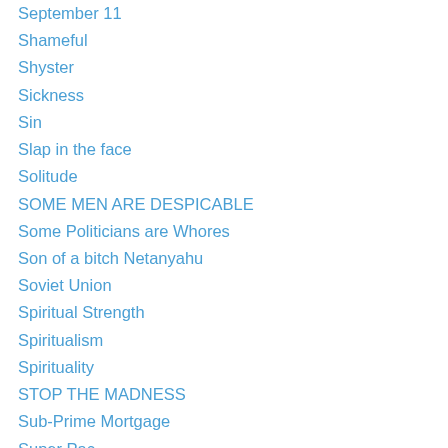September 11
Shameful
Shyster
Sickness
Sin
Slap in the face
Solitude
SOME MEN ARE DESPICABLE
Some Politicians are Whores
Son of a bitch Netanyahu
Soviet Union
Spiritual Strength
Spiritualism
Spirituality
STOP THE MADNESS
Sub-Prime Mortgage
Super Pac
Surviving Cancer
Swindler
Thailand